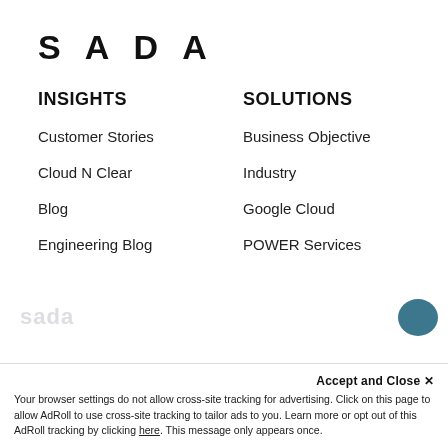[Figure (logo): SADA company logo — large bold spaced-letter wordmark in black]
INSIGHTS
SOLUTIONS
Customer Stories
Business Objective
Cloud N Clear
Industry
Blog
Google Cloud
Engineering Blog
POWER Services
Accept and Close ✕
Your browser settings do not allow cross-site tracking for advertising. Click on this page to allow AdRoll to use cross-site tracking to tailor ads to you. Learn more or opt out of this AdRoll tracking by clicking here. This message only appears once.